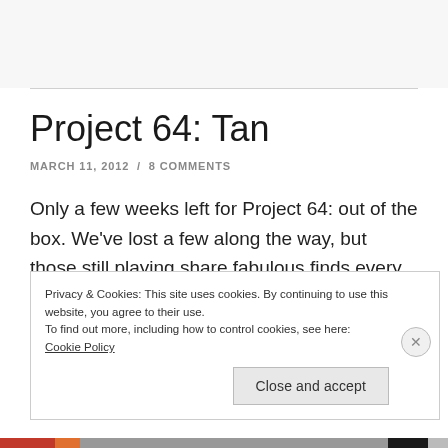Project 64: Tan
MARCH 11, 2012 / 8 COMMENTS
Only a few weeks left for Project 64: out of the box. We've lost a few along the way, but those still playing share fabulous finds every week. This is Tan week and I found a "sister" statue that I simply love. Since I have
Privacy & Cookies: This site uses cookies. By continuing to use this website, you agree to their use.
To find out more, including how to control cookies, see here: Cookie Policy
Close and accept